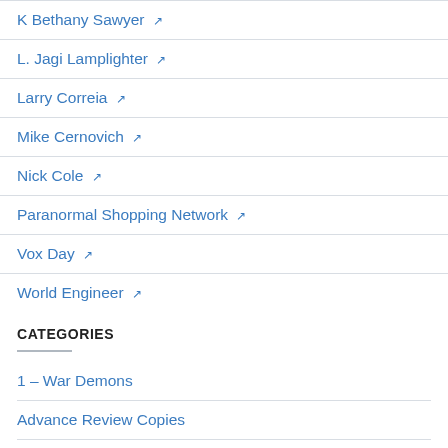K Bethany Sawyer ↗
L. Jagi Lamplighter ↗
Larry Correia ↗
Mike Cernovich ↗
Nick Cole ↗
Paranormal Shopping Network ↗
Vox Day ↗
World Engineer ↗
CATEGORIES
1 – War Demons
Advance Review Copies